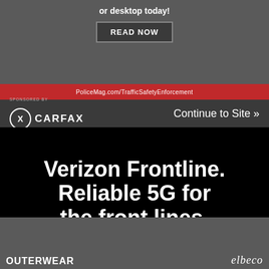or desktop today!
READ NOW
PoliceMag.com/TrafficSafetyEnforcement
SPONSORED BY
Continue to Site »
[Figure (infographic): Verizon Frontline advertisement on black background with headline 'Verizon Frontline. Reliable 5G for the front lines.' and Verizon logo with Learn more link]
Priority and Preemption services are available on 5G Nationwide, but not on 5G Ultra Wideband (5G UW). In the unlikely event the 5G UW network is congested, eligible users' communications fall back to 4G LTE for Priority and Preemption.
OUTERWEAR
[Figure (logo): elbeco logo in italic white text]